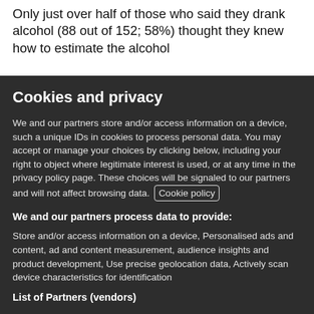than it was among those coming for screening (1%).
Only just over half of those who said they drank alcohol (88 out of 152; 58%) thought they knew how to estimate the alcohol
Cookies and privacy
We and our partners store and/or access information on a device, such a unique IDs in cookies to process personal data. You may accept or manage your choices by clicking below, including your right to object where legitimate interest is used, or at any time in the privacy policy page. These choices will be signaled to our partners and will not affect browsing data. Cookie policy
We and our partners process data to provide:
Store and/or access information on a device, Personalised ads and content, ad and content measurement, audience insights and product development, Use precise geolocation data, Actively scan device characteristics for identification
List of Partners (vendors)
I Accept